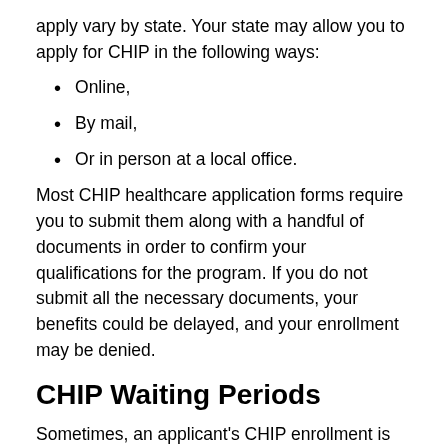apply vary by state. Your state may allow you to apply for CHIP in the following ways:
Online,
By mail,
Or in person at a local office.
Most CHIP healthcare application forms require you to submit them along with a handful of documents in order to confirm your qualifications for the program. If you do not submit all the necessary documents, your benefits could be delayed, and your enrollment may be denied.
CHIP Waiting Periods
Sometimes, an applicant’s CHIP enrollment is subject to a waiting period before he or she can begin receiving benefits. A waiting period is a specific amount of time that an applicant must wait before coverage begins. The length of